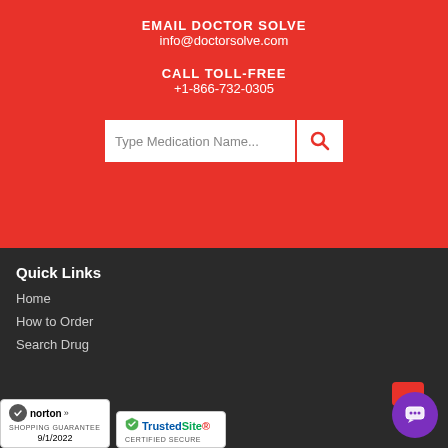EMAIL DOCTOR SOLVE
info@doctorsolve.com
CALL TOLL-FREE
+1-866-732-0305
[Figure (other): Search bar with placeholder text 'Type Medication Name...' and a red search button with magnifying glass icon]
Quick Links
Home
How to Order
Search Drug
[Figure (logo): Norton Shopping Guarantee badge with checkmark, dated 9/1/2022]
[Figure (logo): TrustedSite Certified Secure badge]
[Figure (other): Chat widget with red card and purple circle chat icon]